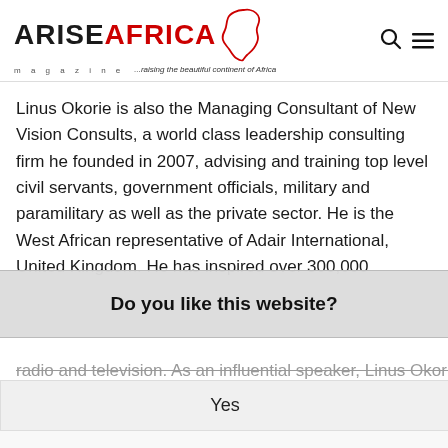ARISE AFRICA magazine — ...raising the beautiful continent of Africa
Linus Okorie is also the Managing Consultant of New Vision Consults, a world class leadership consulting firm he founded in 2007, advising and training top level civil servants, government officials, military and paramilitary as well as the private sector. He is the West African representative of Adair International, United Kingdom. He has inspired over 300,000
Do you like this website?
radio and television. As an influential speaker, Linus Okorie
Yes